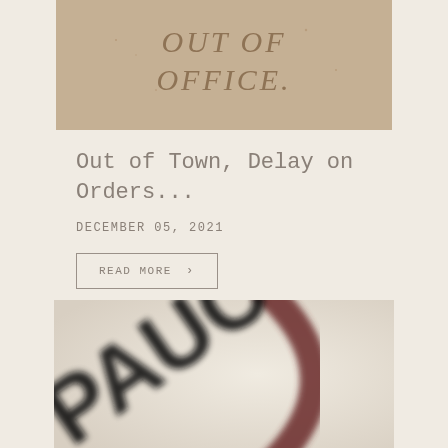[Figure (photo): Photo of 'OUT OF OFFICE' written in sand on a beach, with sandy/tan background]
Out of Town, Delay on Orders...
DECEMBER 05, 2021
READ MORE >
[Figure (photo): Close-up blurred photo of a basketball showing black lettering and dark seams on white background]